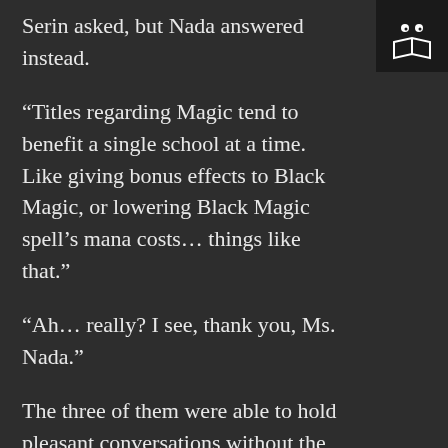Serin asked, but Nada answered instead.
[Figure (logo): Dark square logo with two dot eyes and an open book icon in white outline]
“Titles regarding Magic tend to benefit a single school at a time. Like giving bonus effects to Black Magic, or lowering Black Magic spell’s mana costs… things like that.”
“Ah… really? I see, thank you, Ms. Nada.”
The three of them were able to hold pleasant conversations without the need for him to get involved.
“But where did Ms Nada learn to use the dagger?”